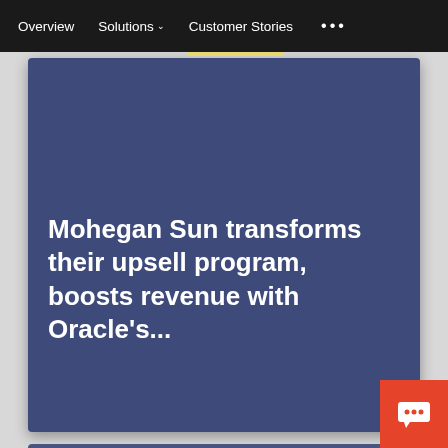Overview  Solutions  Customer Stories  ...
Mohegan Sun transforms their upsell program, boosts revenue with Oracle's...
[Figure (screenshot): Bottom partial card in blue-navy color, partially visible at bottom of page]
[Figure (other): Orange chat button with speech bubble icon in bottom-right corner]